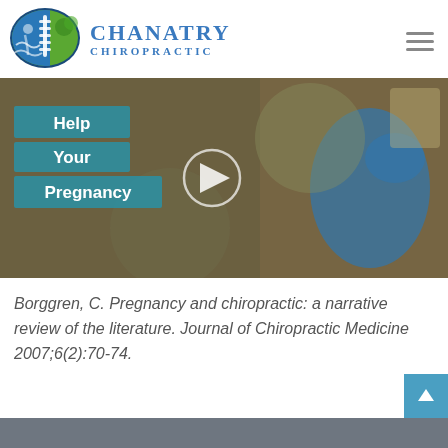[Figure (logo): Chanatry Chiropractic logo with spine and tree graphic in blue and green oval]
CHANATRY CHIROPRACTIC
[Figure (screenshot): Video thumbnail showing a pregnant woman in blue clothing with overlay text 'Help Your Pregnancy' and a play button]
Borggren, C. Pregnancy and chiropractic: a narrative review of the literature. Journal of Chiropractic Medicine 2007;6(2):70-74.